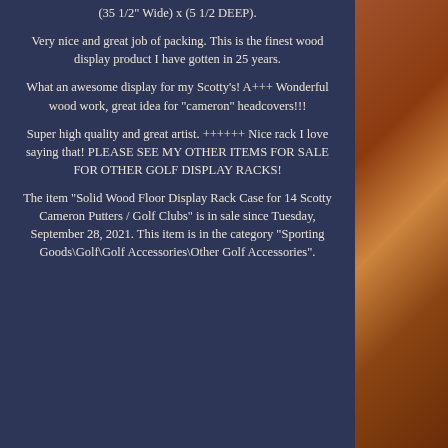(35 1/2" Wide) x (5 1/2 DEEP).
Very nice and great job of packing. This is the finest wood display product I have gotten in 25 years.
What an awesome display for my Scotty's! A+++ Wonderful wood work, great idea for "cameron" headcovers!!!
Super high quality and great artist. ++++++ Nice rack I love saying that! PLEASE SEE MY OTHER ITEMS FOR SALE FOR OTHER GOLF DISPLAY RACKS!
The item "Solid Wood Floor Display Rack Case for 14 Scotty Cameron Putters / Golf Clubs" is in sale since Tuesday, September 28, 2021. This item is in the category "Sporting Goods\Golf\Golf Accessories\Other Golf Accessories".
[Figure (photo): Right side panel showing a wooden display rack with reddish-brown cherry wood finish]